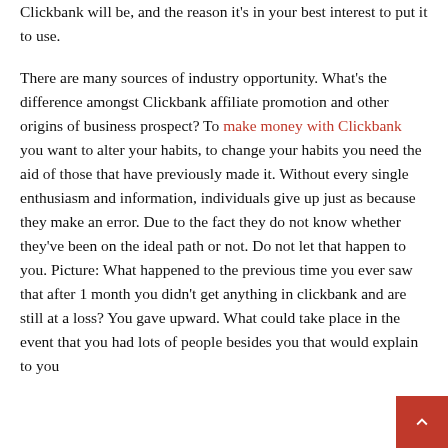Clickbank will be, and the reason it's in your best interest to put it to use.
There are many sources of industry opportunity. What's the difference amongst Clickbank affiliate promotion and other origins of business prospect? To make money with Clickbank you want to alter your habits, to change your habits you need the aid of those that have previously made it. Without every single enthusiasm and information, individuals give up just as because they make an error. Due to the fact they do not know whether they've been on the ideal path or not. Do not let that happen to you. Picture: What happened to the previous time you ever saw that after 1 month you didn't get anything in clickbank and are still at a loss? You gave upward. What could take place in the event that you had lots of people besides you that would explain to you